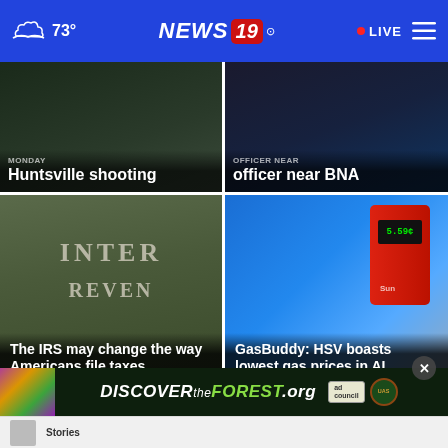73° NEWS19 • LIVE
Monday Huntsville shooting
officer near BNA
[Figure (photo): IRS building exterior with stone lettering 'INTER' visible, overlaid with headline: The IRS may change the way Americans file taxes]
[Figure (photo): Gas pump with red panel showing price display 5.59, blue pump body, GasBuddy headline: HSV boasts lowest gas prices in AL]
[Figure (photo): Advertisement banner: DISCOVERtheFOREST.org with Ad Council and US Forest Service badges]
DISCOVERtheFOREST.org